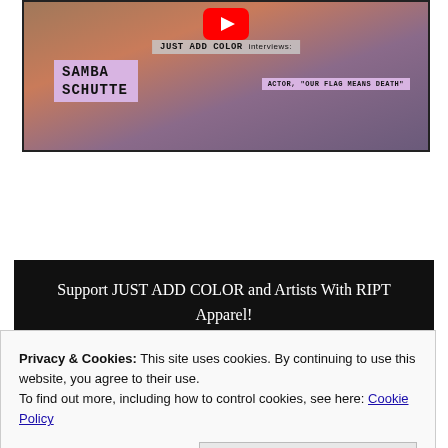[Figure (screenshot): YouTube video thumbnail showing two people with text overlays: 'JUST ADD COLOR interviews: SAMBA SCHUTTE, ACTOR, OUR FLAG MEANS DEATH'. A red YouTube play button is visible at the top center.]
Support JUST ADD COLOR and Artists With RIPT Apparel!
Privacy & Cookies: This site uses cookies. By continuing to use this website, you agree to their use.
To find out more, including how to control cookies, see here: Cookie Policy
Close and accept